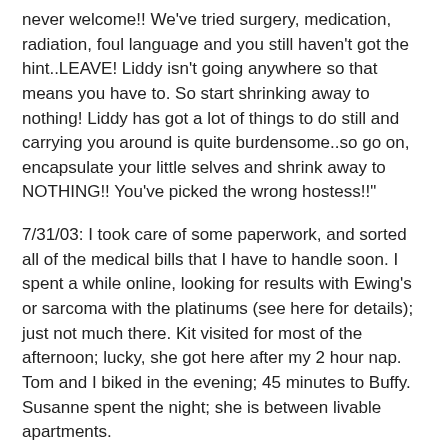never welcome!! We've tried surgery, medication, radiation, foul language and you still haven't got the hint..LEAVE! Liddy isn't going anywhere so that means you have to. So start shrinking away to nothing! Liddy has got a lot of things to do still and carrying you around is quite burdensome..so go on, encapsulate your little selves and shrink away to NOTHING!! You've picked the wrong hostess!!"
7/31/03: I took care of some paperwork, and sorted all of the medical bills that I have to handle soon. I spent a while online, looking for results with Ewing's or sarcoma with the platinums (see here for details); just not much there. Kit visited for most of the afternoon; lucky, she got here after my 2 hour nap. Tom and I biked in the evening; 45 minutes to Buffy. Susanne spent the night; she is between livable apartments.
8/1/03: Tom and I left at 7:20 am and returned at 3; another long day. Before we left the city, we dropped by Sarah's office and got a copy of Harry Potter #5. I started off with blood cultures and urine cultures to see if there is an infection-based reason